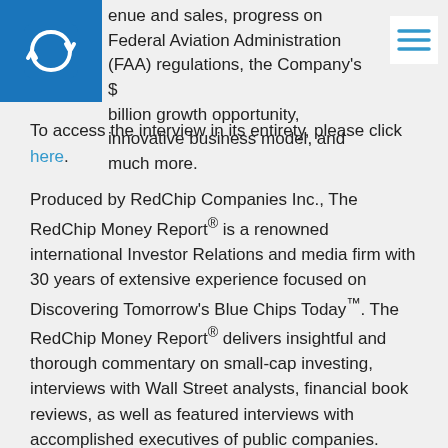venue and sales, progress on Federal Aviation Administration (FAA) regulations, the Company's $ billion growth opportunity, innovative business model, and much more.
To access the interview in its entirety, please click here.
Produced by RedChip Companies Inc., The RedChip Money Report® is a renowned international Investor Relations and media firm with 30 years of extensive experience focused on Discovering Tomorrow's Blue Chips Today™. The RedChip Money Report® delivers insightful and thorough commentary on small-cap investing, interviews with Wall Street analysts, financial book reviews, as well as featured interviews with accomplished executives of public companies.
About Draganfly
Draganfly Inc. (NASDAQ: DPRO; CSE: DPRO; FSE: 3U8) is the creator of quality, cutting-edge drone solutions, software, and AI systems that revolutionize